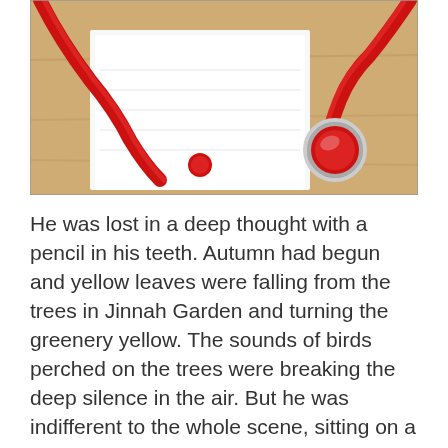[Figure (photo): Close-up photo of a red stethoscope resting on a book or papers on a wooden surface. The stethoscope's chest piece is visible on the right and the tubing curves to the left.]
He was lost in a deep thought with a pencil in his teeth. Autumn had begun and yellow leaves were falling from the trees in Jinnah Garden and turning the greenery yellow. The sounds of birds perched on the trees were breaking the deep silence in the air. But he was indifferent to the whole scene, sitting on a bench near the cafeteria a short distance from the Quaid-e-Azam Library. I walked over to him. At first glance, I thought he was an artist, but with the books he had and his age, it was difficult to form an opinion about him. I saw it and moved on. When I got there again after some time, he was sitting on